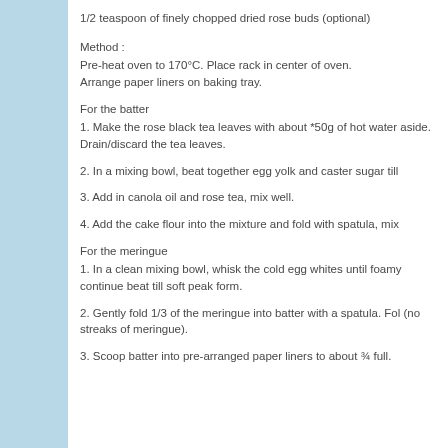1/2 teaspoon of finely chopped dried rose buds (optional)
Method :
Pre-heat oven to 170°C. Place rack in center of oven. Arrange paper liners on baking tray.
For the batter
1. Make the rose black tea leaves with about *50g of hot water aside. Drain/discard the tea leaves.
2. In a mixing bowl, beat together egg yolk and caster sugar till
3. Add in canola oil and rose tea, mix well.
4. Add the cake flour into the mixture and fold with spatula, mix
For the meringue
1. In a clean mixing bowl, whisk the cold egg whites until foamy continue beat till soft peak form.
2. Gently fold 1/3 of the meringue into batter with a spatula. Fol (no streaks of meringue).
3. Scoop batter into pre-arranged paper liners to about ¾ full.